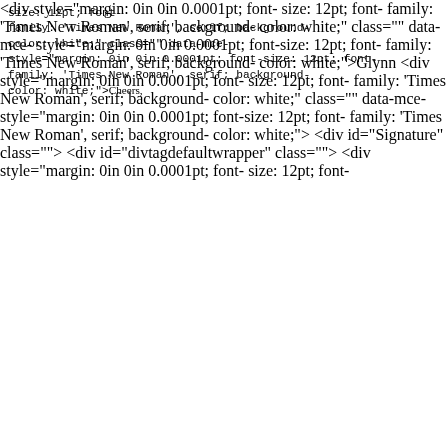size: 12pt; font-
family: 'Times New Roman', serif; background-
color: white;" class="" data-mce-
style="margin: 0in 0in 0.0001pt; font-size: 12pt; font-
family: 'Times New Roman', serif; background-
color: white;"><span style="font-family: Calibri, sans-
serif;" class="" data-mce-style="font-
family: Calibri, sans-serif;">Cheers,</span></div>
<div style="margin: 0in 0in 0.0001pt; font-
size: 12pt; font-
family: 'Times New Roman', serif; background-
color: white;" class="" data-mce-
style="margin: 0in 0in 0.0001pt; font-size: 12pt; font-
family: 'Times New Roman', serif; background-
color: white;"><span style="font-family: Calibri, sans-
serif;" class="" data-mce-style="font-
family: Calibri, sans-serif;">Glynn</span></div>
<div style="margin: 0in 0in 0.0001pt; font-
size: 12pt; font-
family: 'Times New Roman', serif; background-
color: white;" class="" data-mce-
style="margin: 0in 0in 0.0001pt; font-size: 12pt; font-
family: 'Times New Roman', serif; background-
color: white;"><span style="font-family: Calibri, sans-
serif;" class="" data-mce-style="font-
family: Calibri, sans-serif;"> </span></div>
<div id="Signature" class="">
<div id="divtagdefaultwrapper" class="">
<div style="margin: 0in 0in 0.0001pt; font-
size: 12pt; font-